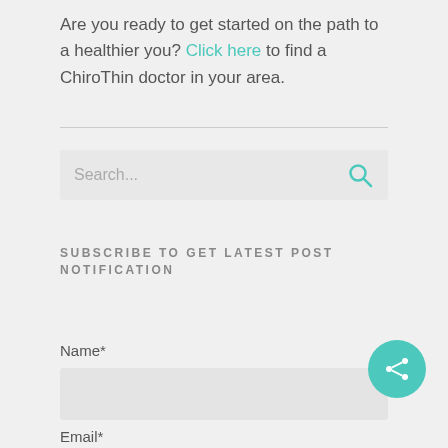Are you ready to get started on the path to a healthier you? Click here to find a ChiroThin doctor in your area.
[Figure (other): Horizontal divider line]
[Figure (other): Search input box with placeholder text 'Search...' and a teal search icon on the right]
SUBSCRIBE TO GET LATEST POST NOTIFICATION
Name*
[Figure (other): Name text input field (empty, grey background)]
Email*
[Figure (other): Teal circular share button with share icon]